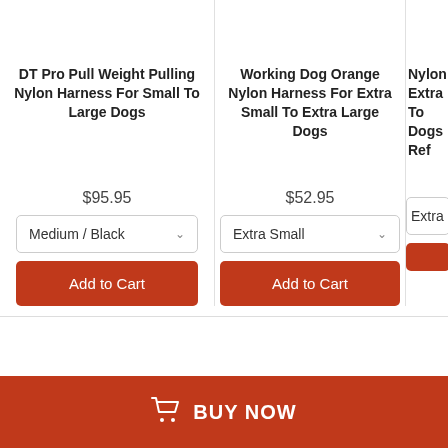[Figure (photo): Partial dog harness product image for DT Pro Pull Weight Pulling Nylon Harness]
[Figure (photo): Partial dog harness product image for Working Dog Orange Nylon Harness]
[Figure (photo): Partial dog harness product image for Nylon Extra To Dogs Ref]
DT Pro Pull Weight Pulling Nylon Harness For Small To Large Dogs
Working Dog Orange Nylon Harness For Extra Small To Extra Large Dogs
Nylon Extra To Dogs Ref
$95.95
$52.95
Medium / Black
Extra Small
Extra
Add to Cart
Add to Cart
BUY NOW